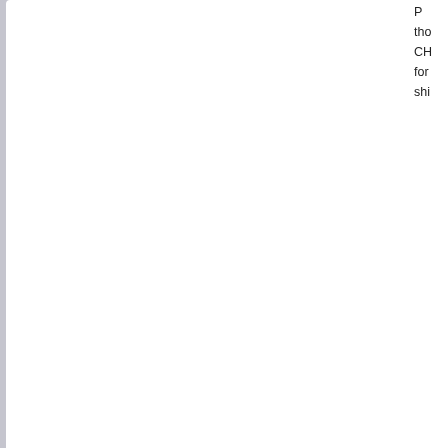tho CH for shi
Seiten: [1]   Nach oben
Forum Marinearchiv »  Webseite Historische
Thema: Passagierdampfer AVLIS
Cookies helfen uns, Ihnen eine bessere Funktionalität auf unserer Webseite anzubieten. Durch die Nutzung unserer Website www.forum-marinearchiv.de stimmen Sie der Verwendung von Cookies durch uns zu.  OK  Mehr erfahren
XHTML  RSS  WAP2